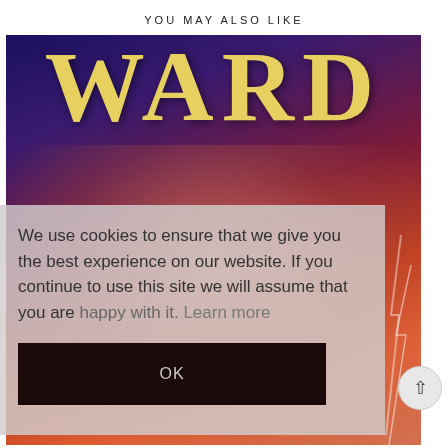YOU MAY ALSO LIKE
[Figure (photo): Book cover showing the title 'WARD' in large yellow serif letters against a dark blue-purple and orange background, with silhouettes of two figures embracing and lightning effects]
We use cookies to ensure that we give you the best experience on our website. If you continue to use this site we will assume that you are happy with it.  Learn more
OK